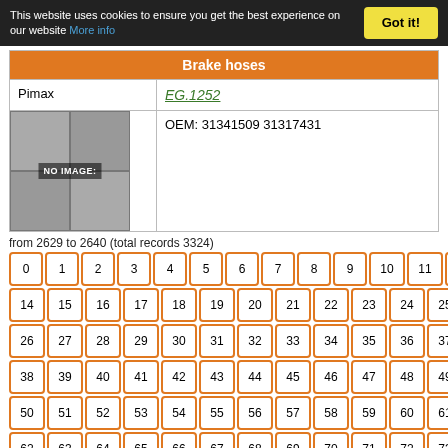This website uses cookies to ensure you get the best experience on our website More info  Got it!
| Brake hoses |
| --- |
| Pimax | EG.1252 |
| [NO IMAGE] | OEM: 31341509 31317431 |
from 2629 to 2640 (total records 3324)
0 1 2 3 4 5 6 7 8 9 10 11 12 13 14 15 16 17 18 19 20 21 22 23 24 25 26 27 28 29 30 31 32 33 34 35 36 37 38 39 40 41 42 43 44 45 46 47 48 49 50 51 52 53 54 55 56 57 58 59 60 61 62 63 64 65 66 67 68 69 70 71 72 73 74 75 76 77 78 79 80 81 82 83 84 85